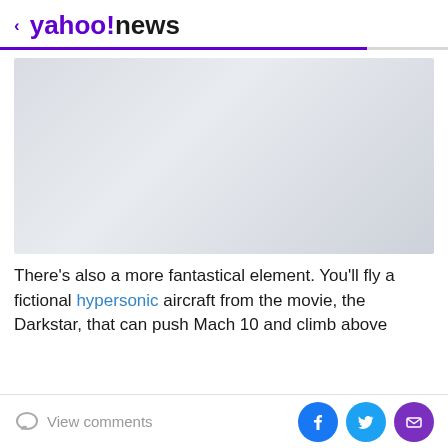< yahoo!news
[Figure (photo): Gray placeholder image area for an article photo]
There's also a more fantastical element. You'll fly a fictional hypersonic aircraft from the movie, the Darkstar, that can push Mach 10 and climb above
View comments | Share on Facebook | Share on Twitter | Share via Email